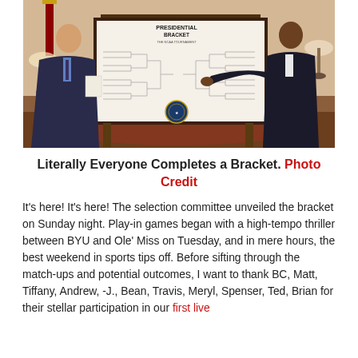[Figure (photo): Two men stand in an ornate room (likely the White House). One man in a dark suit holds papers, the other man (Barack Obama) in a dark suit gestures toward a large framed 'Presidential Bracket' NCAA tournament bracket board on a table.]
Literally Everyone Completes a Bracket. Photo Credit
It’s here! It’s here! The selection committee unveiled the bracket on Sunday night. Play-in games began with a high-tempo thriller between BYU and Ole’ Miss on Tuesday, and in mere hours, the best weekend in sports tips off. Before sifting through the match-ups and potential outcomes, I want to thank BC, Matt, Tiffany, Andrew, -J., Bean, Travis, Meryl, Spenser, Ted, Brian for their stellar participation in our first live